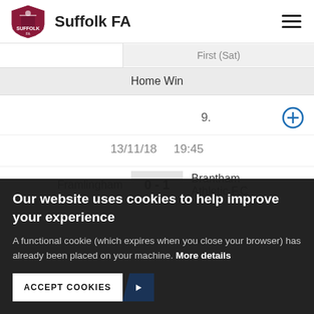Suffolk FA
|  | First (Sat) |
| --- | --- |
|  | Home Win |
|  | 9. |
|  | 13/11/18  19:45 |
| Framlingham | 0 - 1 | Brantham Athletic F.C |
Our website uses cookies to help improve your experience
A functional cookie (which expires when you close your browser) has already been placed on your machine. More details
ACCEPT COOKIES